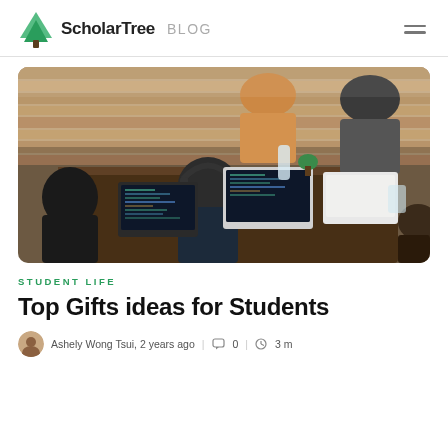ScholarTree BLOG
[Figure (photo): Students sitting around a table working on laptops in a cafe/workspace setting, viewed from above and behind]
STUDENT LIFE
Top Gifts ideas for Students
Ashely Wong Tsui, 2 years ago | 0 | 3 m